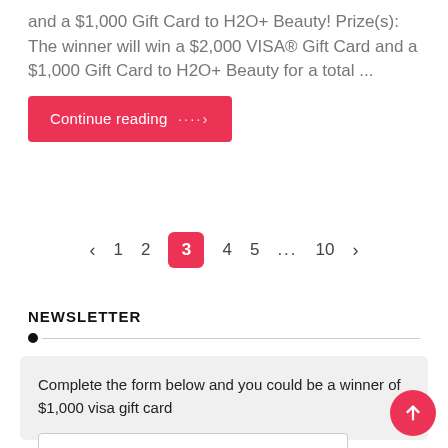and a $1,000 Gift Card to H2O+ Beauty! Prize(s): The winner will win a $2,000 VISA® Gift Card and a $1,000 Gift Card to H2O+ Beauty for a total ...
Continue reading ····›
‹ 1 2 3 4 5 ... 10 ›
NEWSLETTER
Complete the form below and you could be a winner of $1,000 visa gift card
First Name